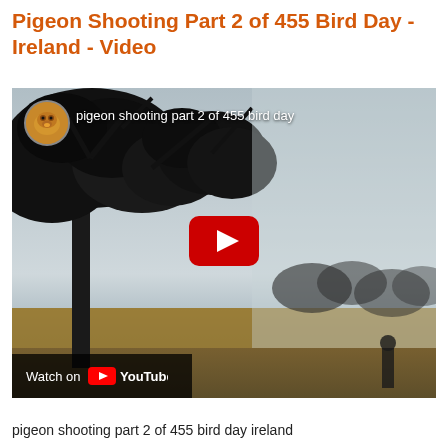Pigeon Shooting Part 2 of 455 Bird Day - Ireland - Video
[Figure (screenshot): YouTube video thumbnail showing pigeon shooting footage - outdoor scene with tree silhouettes against overcast sky, fields in background. Channel avatar (golden dog) top-left, video title 'pigeon shooting part 2 of 455 bird day' in white text, YouTube play button in center, 'Watch on YouTube' bar at bottom-left.]
pigeon shooting part 2 of 455 bird day ireland